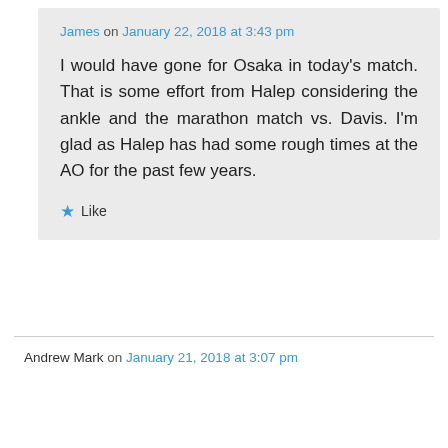James on January 22, 2018 at 3:43 pm
I would have gone for Osaka in today's match. That is some effort from Halep considering the ankle and the marathon match vs. Davis. I'm glad as Halep has had some rough times at the AO for the past few years.
Like
Andrew Mark on January 21, 2018 at 3:07 pm